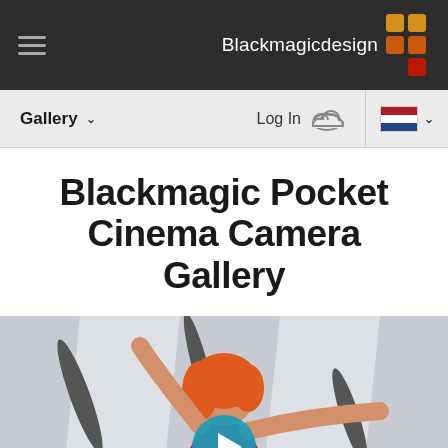Blackmagicdesign — navigation header with hamburger menu and logo
Gallery ∨   Log In ☁   🇳🇱 ∨
Blackmagic Pocket Cinema Camera Gallery
[Figure (photo): A woman with orange-red hair wearing a red dress, posing with arms spread against a white architectural wall with geometric shapes. A teal play button overlay is visible at the bottom center.]